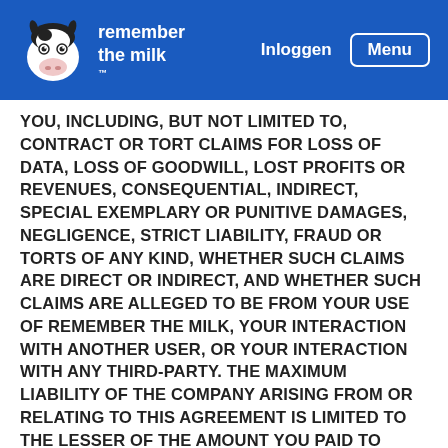remember the milk — Inloggen | Menu
YOU, INCLUDING, BUT NOT LIMITED TO, CONTRACT OR TORT CLAIMS FOR LOSS OF DATA, LOSS OF GOODWILL, LOST PROFITS OR REVENUES, CONSEQUENTIAL, INDIRECT, SPECIAL EXEMPLARY OR PUNITIVE DAMAGES, NEGLIGENCE, STRICT LIABILITY, FRAUD OR TORTS OF ANY KIND, WHETHER SUCH CLAIMS ARE DIRECT OR INDIRECT, AND WHETHER SUCH CLAIMS ARE ALLEGED TO BE FROM YOUR USE OF REMEMBER THE MILK, YOUR INTERACTION WITH ANOTHER USER, OR YOUR INTERACTION WITH ANY THIRD-PARTY. THE MAXIMUM LIABILITY OF THE COMPANY ARISING FROM OR RELATING TO THIS AGREEMENT IS LIMITED TO THE LESSER OF THE AMOUNT YOU PAID TO REMEMBER THE MILK IN THE PRIOR 3 (THREE) MONTHS OR $100. SOME